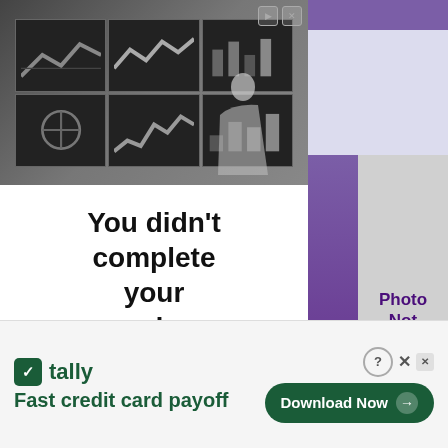[Figure (screenshot): Left advertisement panel showing a person in front of multiple monitors displaying charts, with text 'You didn't complete your order' and 'Take advantage of the g7fx']
[Figure (screenshot): Main content area row 1: purple numbered cell with '9' and gray photo placeholder reading 'Photo Not Available (contribution appreciated)']
[Figure (screenshot): Main content area row 2: purple numbered cell with '22A' and gray photo placeholder reading 'Photo Not Available']
[Figure (screenshot): Bottom banner advertisement for Tally: 'Fast credit card payoff' with 'Download Now' button]